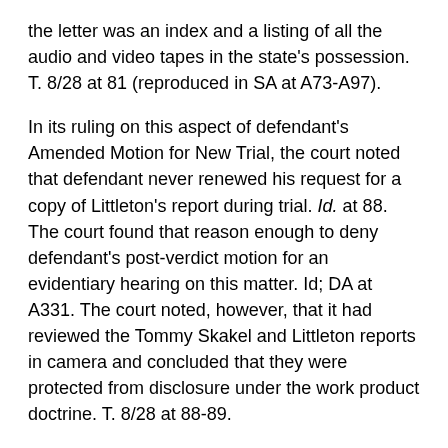the letter was an index and a listing of all the audio and video tapes in the state's possession. T. 8/28 at 81 (reproduced in SA at A73-A97).
In its ruling on this aspect of defendant's Amended Motion for New Trial, the court noted that defendant never renewed his request for a copy of Littleton's report during trial. Id. at 88. The court found that reason enough to deny defendant's post-verdict motion for an evidentiary hearing on this matter. Id; DA at A331. The court noted, however, that it had reviewed the Tommy Skakel and Littleton reports in camera and concluded that they were protected from disclosure under the work product doctrine. T. 8/28 at 88-89.
2. The trial court correctly concluded that the reports were not subject to discovery by the defense
"The work product rule protects an attorney's